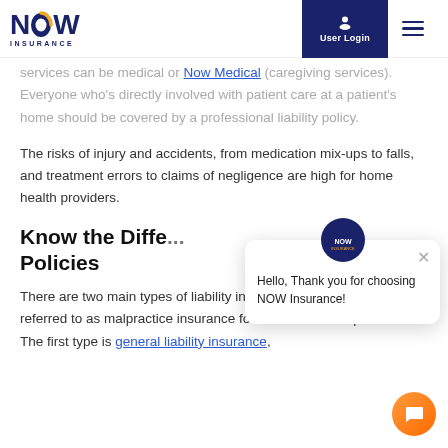NOW INSURANCE | User Login
...services can be medical or Now Medical (caregiving services). Everyone who's directly involved with patient care at a patient's home should be covered by a professional liability policy.
The risks of injury and accidents, from medication mix-ups to falls, and treatment errors to claims of negligence are high for home health providers.
Know the Diffe... Policies
There are two main types of liability insurance, which is also referred to as malpractice insurance for certain medical professions. The first type is general liability insurance,